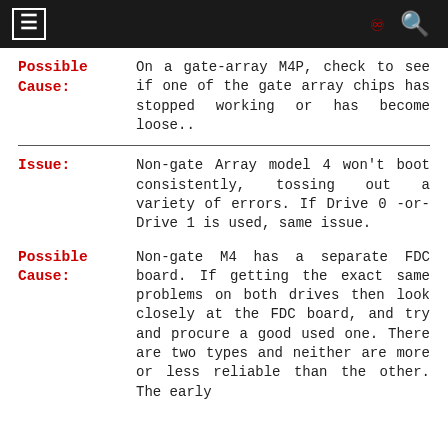≡  ∞  🔍
Possible Cause: On a gate-array M4P, check to see if one of the gate array chips has stopped working or has become loose..
Issue: Non-gate Array model 4 won't boot consistently, tossing out a variety of errors. If Drive 0 -or- Drive 1 is used, same issue.
Possible Cause: Non-gate M4 has a separate FDC board. If getting the exact same problems on both drives then look closely at the FDC board, and try and procure a good used one. There are two types and neither are more or less reliable than the other. The early